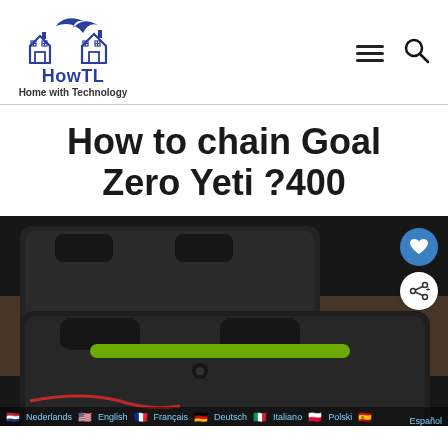HowTL Home with Technology
How to chain Goal Zero Yeti ?400
[Figure (photo): Close-up photo of two Goal Zero Yeti portable power station units connected with a green cable, showing their black plastic tops with handle slots, overlaid with language selection bar at the bottom.]